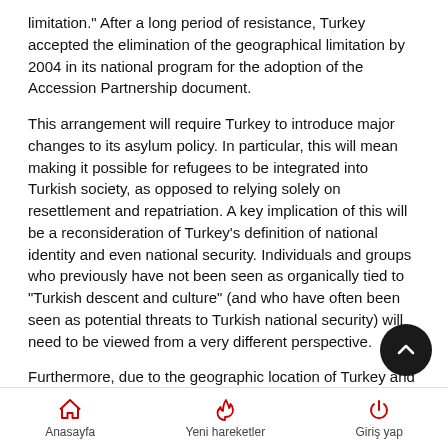limitation." After a long period of resistance, Turkey accepted the elimination of the geographical limitation by 2004 in its national program for the adoption of the Accession Partnership document.
This arrangement will require Turkey to introduce major changes to its asylum policy. In particular, this will mean making it possible for refugees to be integrated into Turkish society, as opposed to relying solely on resettlement and repatriation. A key implication of this will be a reconsideration of Turkey's definition of national identity and even national security. Individuals and groups who previously have not been seen as organically tied to "Turkish descent and culture" (and who have often been seen as potential threats to Turkish national security) will need to be viewed from a very different perspective.
Furthermore, due to the geographic location of Turkey and given the nature of the EU's emerging "common" asylum policy, Turkey
Anasayfa   Yeni hareketler   Giriş yap